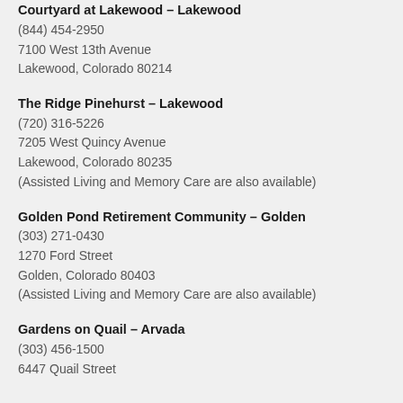Courtyard at Lakewood – Lakewood
(844) 454-2950
7100 West 13th Avenue
Lakewood, Colorado 80214
The Ridge Pinehurst – Lakewood
(720) 316-5226
7205 West Quincy Avenue
Lakewood, Colorado 80235
(Assisted Living and Memory Care are also available)
Golden Pond Retirement Community – Golden
(303) 271-0430
1270 Ford Street
Golden, Colorado 80403
(Assisted Living and Memory Care are also available)
Gardens on Quail – Arvada
(303) 456-1500
6447 Quail Street